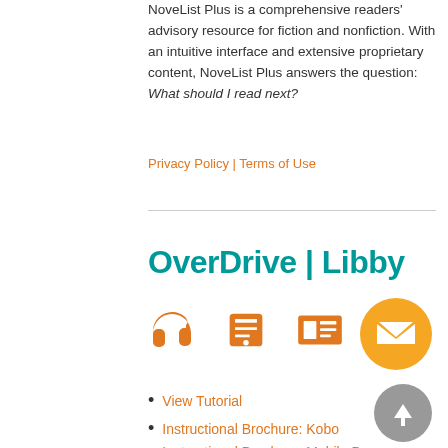NoveList Plus is a comprehensive readers' advisory resource for fiction and nonfiction. With an intuitive interface and extensive proprietary content, NoveList Plus answers the question: What should I read next?
Privacy Policy | Terms of Use
OverDrive | Libby
[Figure (illustration): Three orange icons: headphones, ebook reader, and magazine/newspaper. An orange circle with envelope icon and a gray circle with up arrow.]
View Tutorial
Instructional Brochure: Kobo
Instructional Brochure: Mobile Device